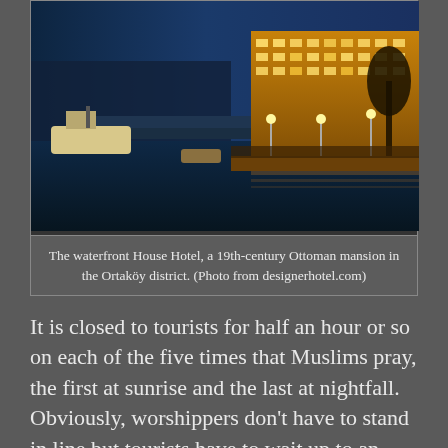[Figure (photo): Nighttime waterfront photo of the House Hotel in the Ortaköy district of Istanbul — a 19th-century Ottoman mansion illuminated in warm golden light on the right, with a dark blue Bosphorus and docked boats on the left.]
The waterfront House Hotel, a 19th-century Ottoman mansion in the Ortaköy district. (Photo from designerhotel.com)
It is closed to tourists for half an hour or so on each of the five times that Muslims pray, the first at sunrise and the last at nightfall. Obviously, worshippers don't have to stand in line but tourists have to wait up to an hour or more to get inside, which is the typical waiting time for most of Istanbul's attractions like the Topkapi Palace and